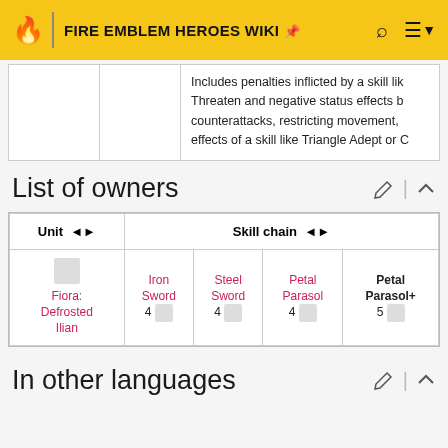FIRE EMBLEM HEROES WIKI
Includes penalties inflicted by a skill like Threaten and negative status effects blocking counterattacks, restricting movement, effects of a skill like Triangle Adept or C
List of owners
| Unit | Skill chain |
| --- | --- |
| Fiora: Defrosted Ilian | Iron Sword 4 | Steel Sword 4 | Petal Parasol 4 | Petal Parasol+ 5 |
In other languages